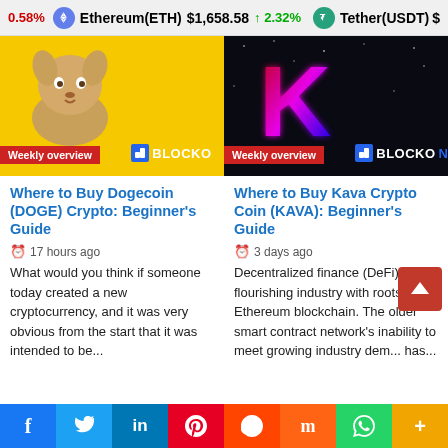0.58%  Ethereum(ETH)  $1,658.58  ↑ 2.32%  Tether(USDT)
[Figure (screenshot): Thumbnail image of a Dogecoin/DOGE article featuring a Shiba Inu dog on yellow background with 'Weekly overview' red badge and BLOCKON logo]
[Figure (screenshot): Thumbnail image of a Kava Crypto Coin article featuring neon letter K on black background with 'Weekly overview' red badge and BLOCKON logo]
Where to Buy Dogecoin (DOGE) Crypto: Beginner's Guide
Where to Buy Kava Crypto Coin (KAVA): Beginner's Guide
17 hours ago
3 days ago
What would you think if someone today created a new cryptocurrency, and it was very obvious from the start that it was intended to be...
Decentralized finance (DeFi) is a flourishing industry with roots in the Ethereum blockchain. The older smart contract network's inability to meet growing industry dem... has...
f  Twitter  in  Pinterest  Reddit  Mix  WhatsApp  +